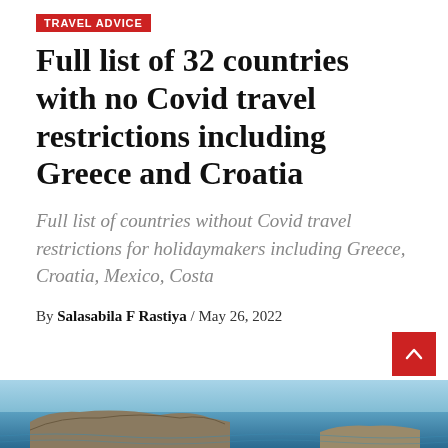TRAVEL ADVICE
Full list of 32 countries with no Covid travel restrictions including Greece and Croatia
Full list of countries without Covid travel restrictions for holidaymakers including Greece, Croatia, Mexico, Costa
By Salasabila F Rastiya / May 26, 2022
[Figure (photo): Coastal landscape with rocky peninsula and blue sea water, viewed from above]